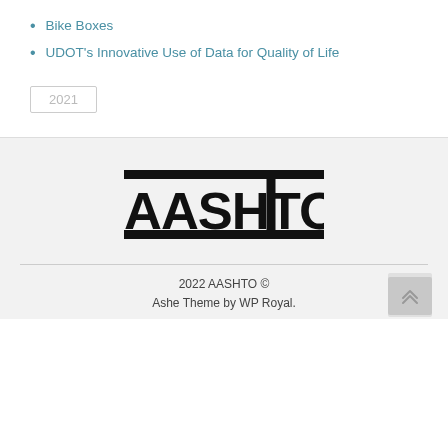Bike Boxes
UDOT's Innovative Use of Data for Quality of Life
2021
[Figure (logo): AASHTO logo — bold black horizontal lines above and below the word AASHTO in large black capital letters]
2022 AASHTO © Ashe Theme by WP Royal.